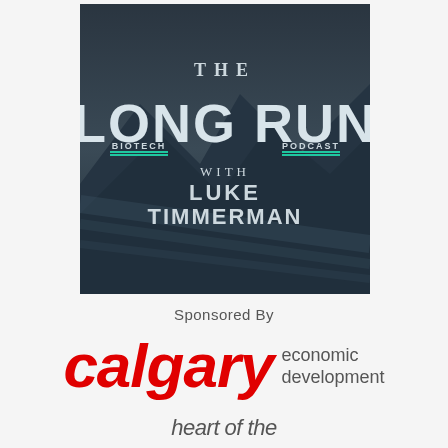[Figure (logo): The Long Run Biotech Podcast with Luke Timmerman - podcast cover art with dark blue/slate mountain background. Text reads: THE LONG RUN with LUKE TIMMERMAN, BIOTECH PODCAST]
Sponsored By
[Figure (logo): Calgary Economic Development sponsor logo - calgary in large red italic bold text, followed by 'economic development' in smaller gray text]
heart of the